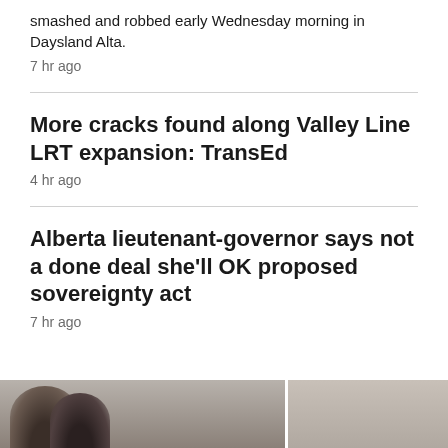smashed and robbed early Wednesday morning in Daysland Alta.
7 hr ago
More cracks found along Valley Line LRT expansion: TransEd
4 hr ago
Alberta lieutenant-governor says not a done deal she'll OK proposed sovereignty act
7 hr ago
TORONTO >
[Figure (photo): Photo strip at bottom of page showing two people, partially cropped]